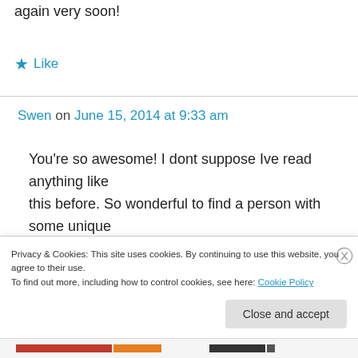again very soon!
★ Like
Swen on June 15, 2014 at 9:33 am
You're so awesome! I dont suppose Ive read anything like this before. So wonderful to find a person with some unique thoughts on this subject. really thank you for starting
Privacy & Cookies: This site uses cookies. By continuing to use this website, you agree to their use. To find out more, including how to control cookies, see here: Cookie Policy
Close and accept